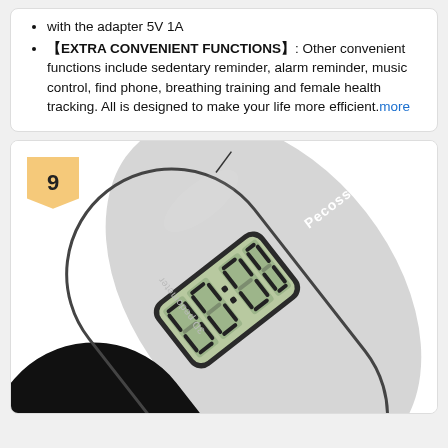with the adapter 5V 1A
【EXTRA CONVENIENT FUNCTIONS】: Other convenient functions include sedentary reminder, alarm reminder, music control, find phone, breathing training and female health tracking. All is designed to make your life more efficient. more
[Figure (photo): A Pecosso 3D pedometer device with a black oval/capsule shape, showing a digital LCD display reading 00:00 with a green background. The device is shown at an angle. Labeled with 'Pecosso' and '3D pedometer' text. A ranking badge showing '9' in a gold/tan color is overlaid in the top-left corner.]